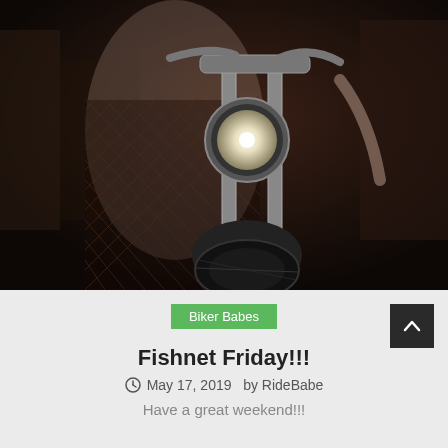[Figure (photo): A person in fishnet stockings leaning over the front of a motorcycle in a garage/shop setting. The front forks, headlight, and tire of a large cruiser motorcycle are visible. Dark, atmospheric lighting.]
Biker Babes
Fishnet Friday!!!
May 17, 2019  by RideBabe
Have a great weekend!!!